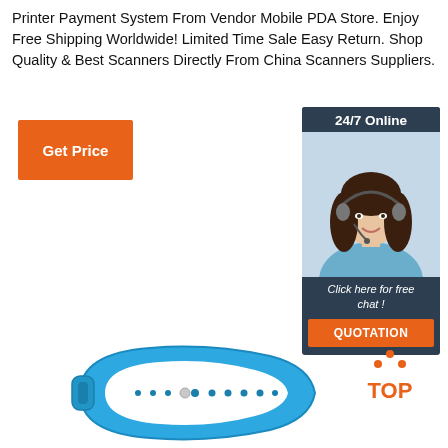Printer Payment System From Vendor Mobile PDA Store. Enjoy Free Shipping Worldwide! Limited Time Sale Easy Return. Shop Quality & Best Scanners Directly From China Scanners Suppliers.
[Figure (other): Orange 'Get Price' button]
[Figure (other): Chat widget showing '24/7 Online' header, female customer service agent with headset, 'Click here for free chat!' text, and orange 'QUOTATION' button]
[Figure (other): Blue RFID wristband/bracelet product photo]
[Figure (other): Orange 'TOP' icon with dotted arrow pointing up]